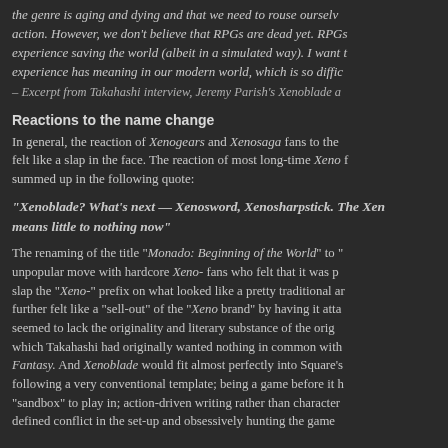the genre is aging and dying and that we need to rouse ourselves to action. However, we don't believe that RPGs are dead yet. RPGs experience saving the world (albeit in a simulated way). I want experience has meaning in our modern world, which is so diffic
– Excerpt from Takahashi interview, Jeremy Parish's Xenoblade a
Reactions to the name change
In general, the reaction of Xenogears and Xenosaga fans to the felt like a slap in the face. The reaction of most long-time Xeno fans summed up in the following quote:
"Xenoblade? What's next — Xenosword, Xenosharpstick. The Xen means little to nothing now"
The renaming of the title "Monado: Beginning of the World" to "" unpopular move with hardcore Xeno- fans who felt that it was p slap the "Xeno-" prefix on what looked like a pretty traditional ar further felt like a "sell-out" of the "Xeno brand" by having it atta seemed to lack the originality and literary substance of the orig which Takahashi had originally wanted nothing in common with Fantasy. And Xenoblade would fit almost perfectly into Square's following a very conventional template; being a game before it "sandbox" to play in; action-driven writing rather than character defined conflict in the set-up and obsessively hunting the game